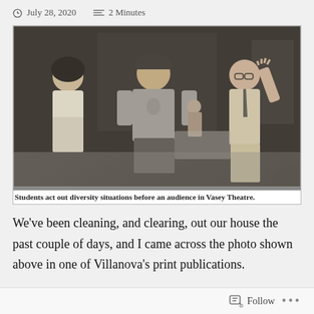July 28, 2020   2 Minutes
[Figure (photo): Black and white newspaper photo of students acting out diversity situations on a stage in Vasey Theatre. Three people are visible in the foreground: a woman on the left, a man in a cap and t-shirt in the center, and a man with glasses raising his hand on the right.]
Students act out diversity situations before an audience in Vasey Theatre.
We've been cleaning, and clearing, out our house the past couple of days, and I came across the photo shown above in one of Villanova's print publications.
Follow ...